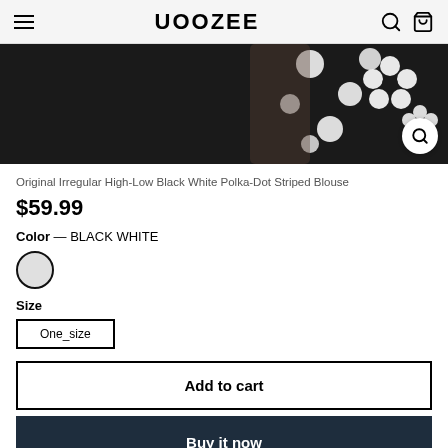UOOZEE
[Figure (photo): Partial view of a black and white polka-dot and floral patterned blouse worn by a model, cropped to show mid-section.]
Original Irregular High-Low Black White Polka-Dot Striped Blouse
$59.99
Color — BLACK WHITE
Size
One_size
Add to cart
Buy it now